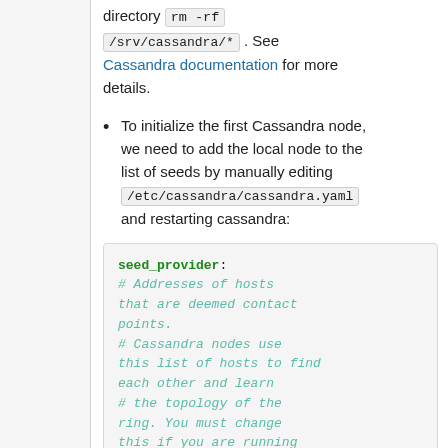directory rm -rf /srv/cassandra/* . See Cassandra documentation for more details.
To initialize the first Cassandra node, we need to add the local node to the list of seeds by manually editing /etc/cassandra/cassandra.yaml and restarting cassandra:
seed_provider:
    # Addresses of hosts that are deemed contact points.
    # Cassandra nodes use this list of hosts to find each other and learn
    # the topology of the ring.  You must change this if you are running
    # multiple nodes!
    - class_name: